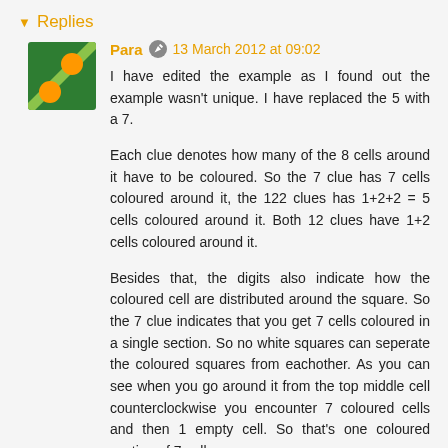▾ Replies
Para  13 March 2012 at 09:02
I have edited the example as I found out the example wasn't unique. I have replaced the 5 with a 7.

Each clue denotes how many of the 8 cells around it have to be coloured. So the 7 clue has 7 cells coloured around it, the 122 clues has 1+2+2 = 5 cells coloured around it. Both 12 clues have 1+2 cells coloured around it.

Besides that, the digits also indicate how the coloured cell are distributed around the square. So the 7 clue indicates that you get 7 cells coloured in a single section. So no white squares can seperate the coloured squares from eachother. As you can see when you go around it from the top middle cell counterclockwise you encounter 7 coloured cells and then 1 empty cell. So that's one coloured section of 7 cells.